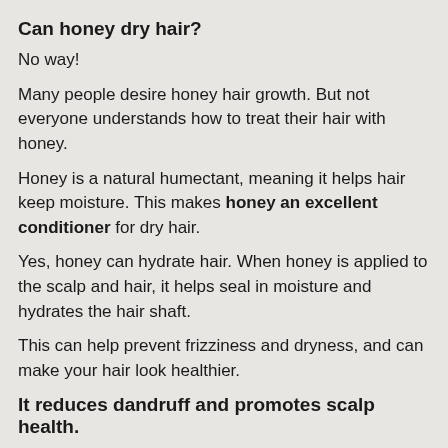Can honey dry hair?
No way!
Many people desire honey hair growth. But not everyone understands how to treat their hair with honey.
Honey is a natural humectant, meaning it helps hair keep moisture. This makes honey an excellent conditioner for dry hair.
Yes, honey can hydrate hair. When honey is applied to the scalp and hair, it helps seal in moisture and hydrates the hair shaft.
This can help prevent frizziness and dryness, and can make your hair look healthier.
It reduces dandruff and promotes scalp health.
Natural honey also has anti-inflammatory properties. This means it can help soothe scalp conditions like dandruff and eczema.
Another well-known benefit of honey is its ability to promote hair growth.